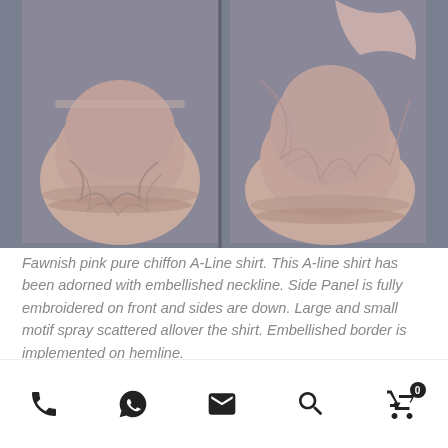[Figure (photo): Two side-by-side photos of a fawnish pink pure chiffon A-Line shirt with embroidered details, embellished neckline and border on hemline, displayed on a grey background.]
Fawnish pink pure chiffon A-Line shirt. This A-line shirt has been adorned with embellished neckline. Side Panel is fully embroidered on front and sides are down. Large and small motif spray scattered allover the shirt. Embellished border is implemented on hemline.
[Figure (photo): Partial view of another product photo on a dark grey background, showing a dark head/top portion.]
Phone | WhatsApp | Email | Search | Cart (0)